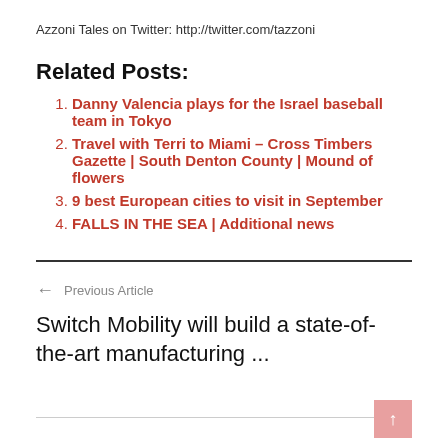Azzoni Tales on Twitter: http://twitter.com/tazzoni
Related Posts:
Danny Valencia plays for the Israel baseball team in Tokyo
Travel with Terri to Miami – Cross Timbers Gazette | South Denton County | Mound of flowers
9 best European cities to visit in September
FALLS IN THE SEA | Additional news
← Previous Article
Switch Mobility will build a state-of-the-art manufacturing ...